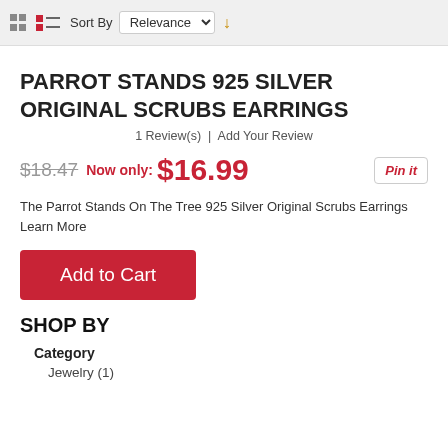Sort By Relevance
PARROT STANDS 925 SILVER ORIGINAL SCRUBS EARRINGS
1 Review(s) | Add Your Review
$18.47 Now only: $16.99
The Parrot Stands On The Tree 925 Silver Original Scrubs Earrings Learn More
Add to Cart
SHOP BY
Category
Jewelry (1)